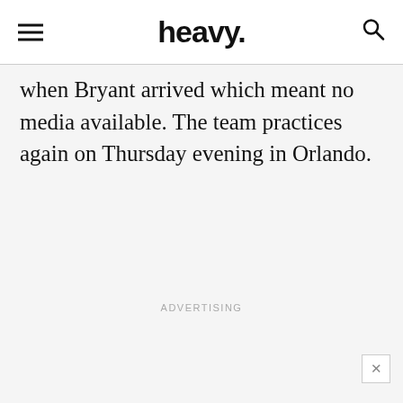heavy.
when Bryant arrived which meant no media available. The team practices again on Thursday evening in Orlando.
ADVERTISING